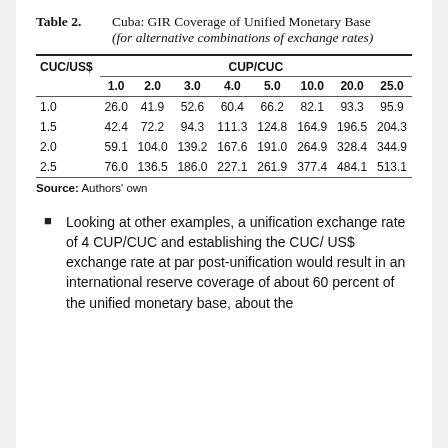Table 2. Cuba: GIR Coverage of Unified Monetary Base (for alternative combinations of exchange rates)
| CUC/US$ | 1.0 | 2.0 | 3.0 | 4.0 | 5.0 | 10.0 | 20.0 | 25.0 |
| --- | --- | --- | --- | --- | --- | --- | --- | --- |
| 1.0 | 26.0 | 41.9 | 52.6 | 60.4 | 66.2 | 82.1 | 93.3 | 95.9 |
| 1.5 | 42.4 | 72.2 | 94.3 | 111.3 | 124.8 | 164.9 | 196.5 | 204.3 |
| 2.0 | 59.1 | 104.0 | 139.2 | 167.6 | 191.0 | 264.9 | 328.4 | 344.9 |
| 2.5 | 76.0 | 136.5 | 186.0 | 227.1 | 261.9 | 377.4 | 484.1 | 513.1 |
Source: Authors' own
Looking at other examples, a unification exchange rate of 4 CUP/CUC and establishing the CUC/ US$ exchange rate at par post-unification would result in an international reserve coverage of about 60 percent of the unified monetary base, about the